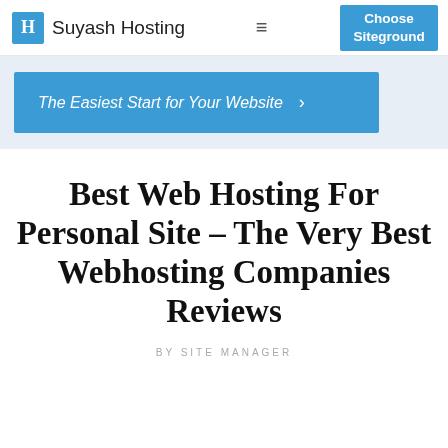Suyash Hosting | Choose Siteground
[Figure (other): Blue banner ad with italic text: The Easiest Start for Your Website >]
Best Web Hosting For Personal Site – The Very Best Webhosting Companies Reviews
BY SITE MANAGER